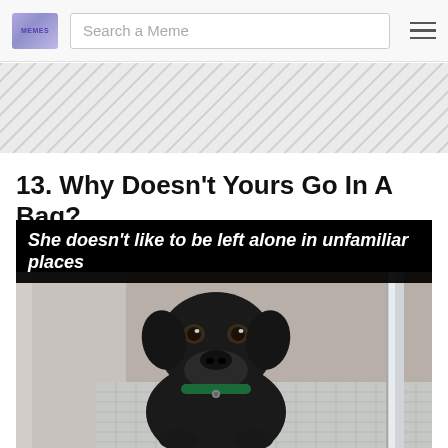MEMES | Search a Meme
[Figure (other): Diagonal hatching banner/ad placeholder area]
13. Why Doesn't Yours Go In A Bag?
[Figure (photo): Meme image of a black Labrador dog sitting in a bathroom stall looking at camera. Top text reads: She doesn't like to be left alone in unfamiliar places]